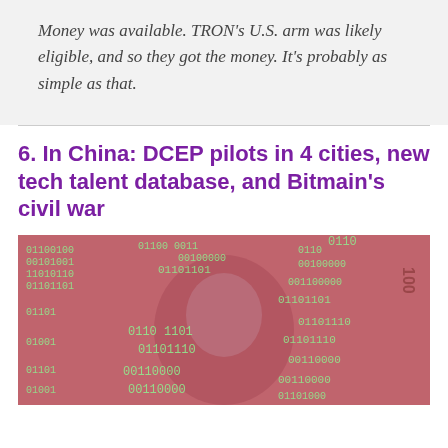Money was available. TRON's U.S. arm was likely eligible, and so they got the money. It's probably as simple as that.
6. In China: DCEP pilots in 4 cities, new tech talent database, and Bitmain's civil war
[Figure (photo): Close-up photo of Chinese currency (renminbi banknotes) overlaid with green binary code digits (0s and 1s), suggesting digital currency or DCEP concept.]